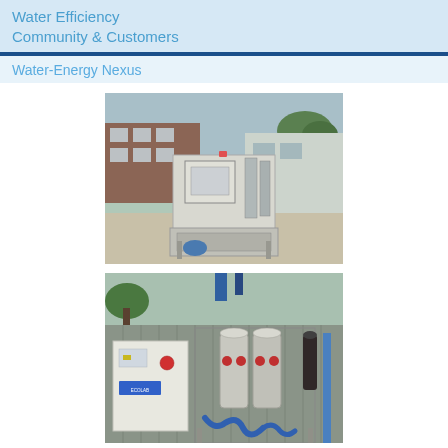Water Efficiency
Community & Customers
Water-Energy Nexus
[Figure (photo): Industrial water treatment or filtration unit mounted on a metal frame, photographed outdoors in front of a brick building. Equipment includes a control panel, piping, valves, and a large tank or basin at the bottom.]
[Figure (photo): Industrial water treatment system with cylindrical filter vessels, red valve fittings, blue hoses, and a white control cabinet branded 'ECOLAB', photographed outdoors next to a corrugated metal building.]